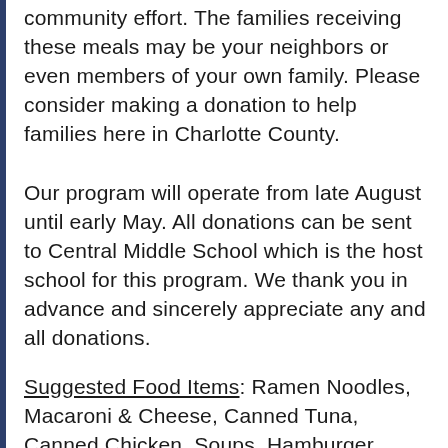community effort. The families receiving these meals may be your neighbors or even members of your own family. Please consider making a donation to help families here in Charlotte County.
Our program will operate from late August until early May. All donations can be sent to Central Middle School which is the host school for this program. We thank you in advance and sincerely appreciate any and all donations.
Suggested Food Items: Ramen Noodles, Macaroni & Cheese, Canned Tuna, Canned Chicken, Soups, Hamburger Helper, Canned Spaghetti/Ravioli, Small boxes of Cereal, Canned Fruit Cups, Snack Crackers, Individual Cookie Packs, Trail Mix, Pudding Cups, Fruit